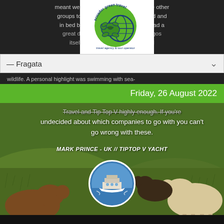meant we packed … almost all the other groups to the isla… …ere shattered and in bed by 9pm b… …ause we'd had a great day. I cou… …the Galapagos itself but there … …ble stand…
[Figure (logo): Ecuador Green Travel logo - turtle with globe, text 'ecuador green travel' and 'travel agency & tour operator']
— Fragata
wildlife. A personal highlight was swimming with sea-
Friday, 26 August 2022
Travel and Tip Top V highly enough. If you're undecided about which companies to go with you can't go wrong with these.
MARK PRINCE - UK // TIPTOP V YACHT
[Figure (photo): Circular photo of a white yacht/boat on blue water - Tip Top V yacht]
[Figure (photo): Background photo of alpacas/sheep grazing in highland grass (Galapagos/Ecuador landscape)]